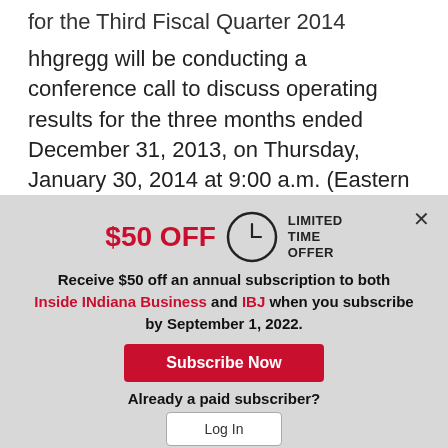for the Third Fiscal Quarter 2014
hhgregg will be conducting a conference call to discuss operating results for the three months ended December 31, 2013, on Thursday, January 30, 2014 at 9:00 a.m. (Eastern Time). Interested
$50 OFF  LIMITED TIME OFFER
Receive $50 off an annual subscription to both Inside INdiana Business and IBJ when you subscribe by September 1, 2022.
Subscribe Now
Already a paid subscriber?
Log In